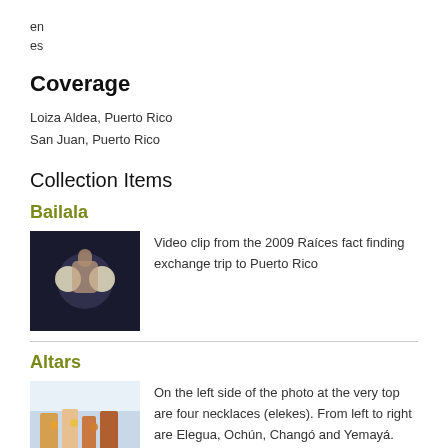en
es
Coverage
Loiza Aldea, Puerto Rico
San Juan, Puerto Rico
Collection Items
Bailala
[Figure (photo): Video thumbnail from the 2009 Raices fact finding exchange trip to Puerto Rico, showing a person with lights in background]
Video clip from the 2009 Raíces fact finding exchange trip to Puerto Rico
Altars
[Figure (photo): Photo thumbnail showing an altar with necklaces and religious items]
On the left side of the photo at the very top are four necklaces (elekes). From left to right are Elegua, Ochún, Changó and Yemayá. See below an explanation for each of